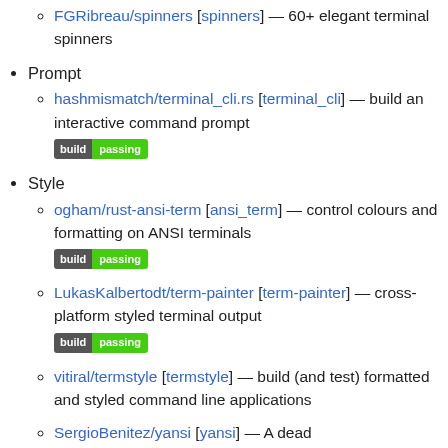FGRibreau/spinners [spinners] — 60+ elegant terminal spinners
Prompt
hashmismatch/terminal_cli.rs [terminal_cli] — build an interactive command prompt [build passing badge]
Style
ogham/rust-ansi-term [ansi_term] — control colours and formatting on ANSI terminals [build passing badge]
LukasKalbertodt/term-painter [term-painter] — cross-platform styled terminal output [build passing badge]
vitiral/termstyle [termstyle] — build (and test) formatted and styled command line applications
SergioBenitez/yansi [yansi] — A dead